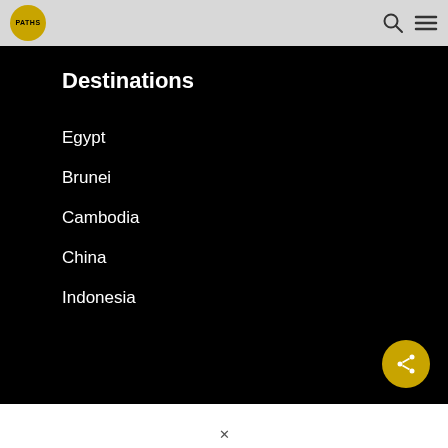PATHS (logo) — navigation header with search and menu icons
Destinations
Egypt
Brunei
Cambodia
China
Indonesia